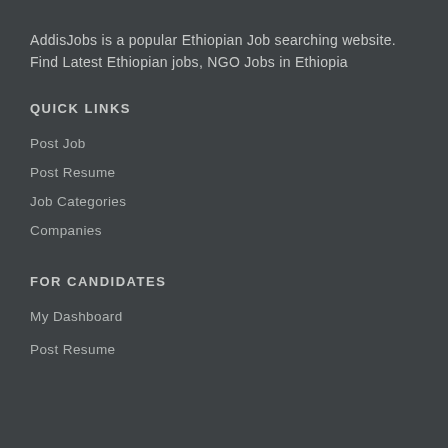AddisJobs is a popular Ethiopian Job searching website. Find Latest Ethiopian jobs, NGO Jobs in Ethiopia
QUICK LINKS
Post Job
Post Resume
Job Categories
Companies
FOR CANDIDATES
My Dashboard
Post Resume